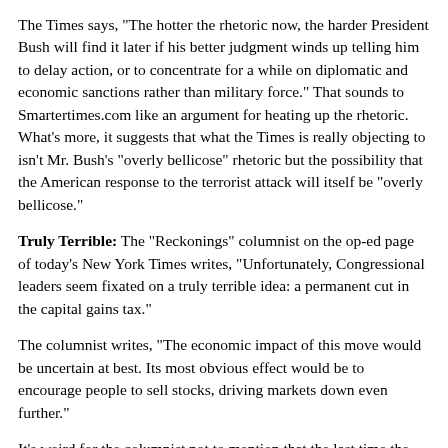The Times says, "The hotter the rhetoric now, the harder President Bush will find it later if his better judgment winds up telling him to delay action, or to concentrate for a while on diplomatic and economic sanctions rather than military force." That sounds to Smartertimes.com like an argument for heating up the rhetoric. What's more, it suggests that what the Times is really objecting to isn't Mr. Bush's "overly bellicose" rhetoric but the possibility that the American response to the terrorist attack will itself be "overly bellicose."
Truly Terrible: The "Reckonings" columnist on the op-ed page of today's New York Times writes, "Unfortunately, Congressional leaders seem fixated on a truly terrible idea: a permanent cut in the capital gains tax."
The columnist writes, "The economic impact of this move would be uncertain at best. Its most obvious effect would be to encourage people to sell stocks, driving markets down even further."
It's weird for the columnist not to mention that the last time the capital gains tax was cut, in 1997 -- when the long-term capital gains tax rate for individuals was reduced to 20% from 28% under a bill signed by a Democratic president, Bill Clinton -- the stock market soared. It's hardly "obvious" that doing the same thing again would have the opposite effect on the markets this time around? It's possible, but you can't say that it's "obvious" ally